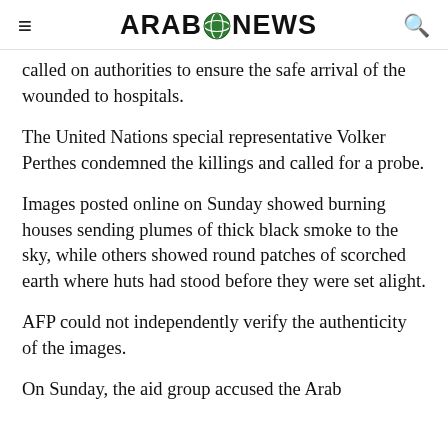ARAB NEWS
called on authorities to ensure the safe arrival of the wounded to hospitals.
The United Nations special representative Volker Perthes condemned the killings and called for a probe.
Images posted online on Sunday showed burning houses sending plumes of thick black smoke to the sky, while others showed round patches of scorched earth where huts had stood before they were set alight.
AFP could not independently verify the authenticity of the images.
On Sunday, the aid group accused the Arab